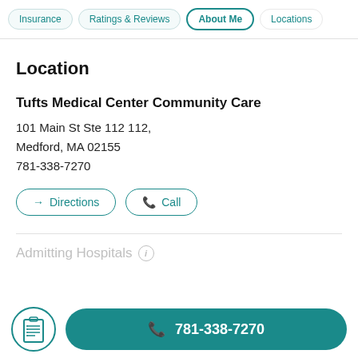Insurance | Ratings & Reviews | About Me | Locations
Location
Tufts Medical Center Community Care
101 Main St Ste 112 112,
Medford, MA 02155
781-338-7270
Directions   Call
Admitting Hospitals
781-338-7270